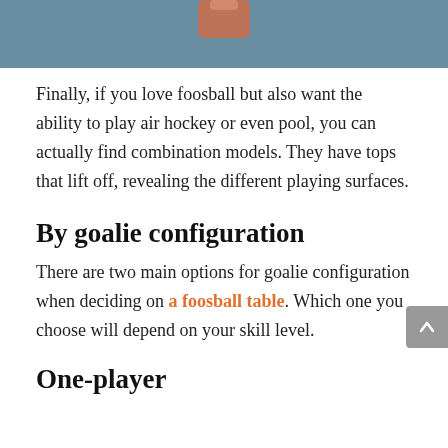[Figure (photo): Top portion of an image with a blue-grey background and a partial view of a hand or figure element at the top center]
Finally, if you love foosball but also want the ability to play air hockey or even pool, you can actually find combination models. They have tops that lift off, revealing the different playing surfaces.
By goalie configuration
There are two main options for goalie configuration when deciding on a foosball table. Which one you choose will depend on your skill level.
One-player